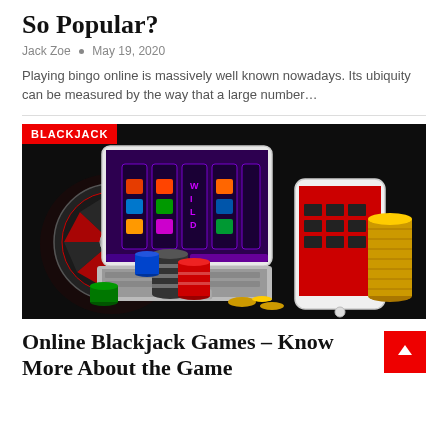So Popular?
Jack Zoe • May 19, 2020
Playing bingo online is massively well known nowadays. Its ubiquity can be measured by the way that a large number…
[Figure (photo): Online casino promotional image with BLACKJACK badge, showing a roulette wheel on tablet, slot machine game on laptop, smartphone with casino game, casino chips in blue/black/red/green stacks, and gold coins on dark background.]
Online Blackjack Games – Know More About the Game